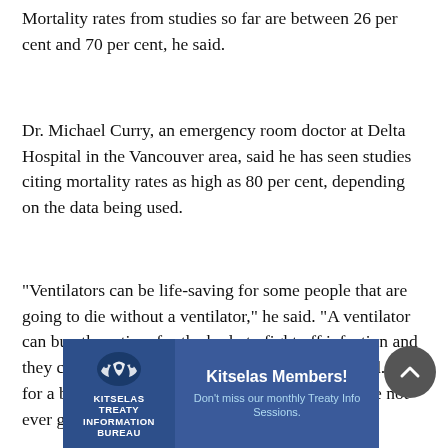Mortality rates from studies so far are between 26 per cent and 70 per cent, he said.
Dr. Michael Curry, an emergency room doctor at Delta Hospital in the Vancouver area, said he has seen studies citing mortality rates as high as 80 per cent, depending on the data being used.
“Ventilators can be life-saving for some people that are going to die without a ventilator,” he said. “A ventilator can buy them time for the body to fight off infection and they can do well after the ventilator is discontinued. But for a big chunk of people put on a ventilator they’re not ever going to
[Figure (other): Kitselas Treaty Information Society advertisement banner. Blue background with Kitselas logo (stylized whale/bird motif) on left side and text 'Kitselas Members! Don't miss our monthly Treaty Info Sessions.' on right side.]